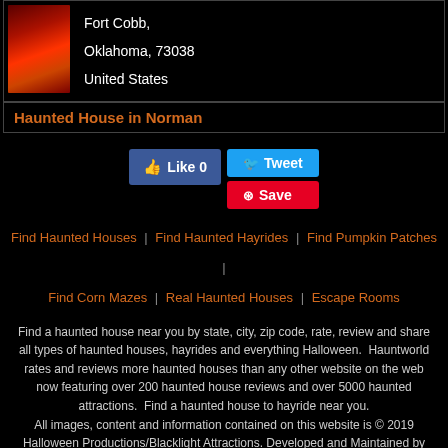[Figure (photo): Red and orange horror themed image (partial, cropped at top)]
Fort Cobb,
Oklahoma, 73038
United States
Haunted House in Norman
Like 0  Tweet  Save
Find Haunted Houses | Find Haunted Hayrides | Find Pumpkin Patches | Find Corn Mazes | Real Haunted Houses | Escape Rooms
Find a haunted house near you by state, city, zip code, rate, review and share all types of haunted houses, hayrides and everything Halloween.  Hauntworld rates and reviews more haunted houses than any other website on the web now featuring over 200 haunted house reviews and over 5000 haunted attractions.  Find a haunted house to hayride near you.
All images, content and information contained on this website is © 2019 Halloween Productions/Blacklight Attractions. Developed and Maintained by iSummation Technologies. All Rights Reserved  Condition of Use | Privacy Notice